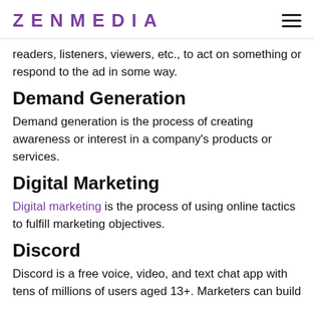ZENMEDIA
readers, listeners, viewers, etc., to act on something or respond to the ad in some way.
Demand Generation
Demand generation is the process of creating awareness or interest in a company's products or services.
Digital Marketing
Digital marketing is the process of using online tactics to fulfill marketing objectives.
Discord
Discord is a free voice, video, and text chat app with tens of millions of users aged 13+. Marketers can build